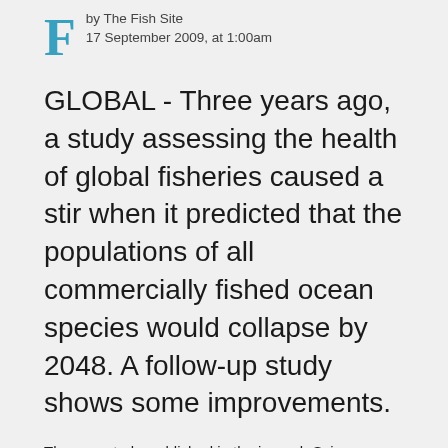by The Fish Site
17 September 2009, at 1:00am
GLOBAL - Three years ago, a study assessing the health of global fisheries caused a stir when it predicted that the populations of all commercially fished ocean species would collapse by 2048. A follow-up study shows some improvements.
The new study, published in the journal, Science, confirms that an increasing number of fish populations are collapsing, according to VOA News. However, it finds that the steps taken around the world to reverse that trend are working. The rate at which fish are being taken